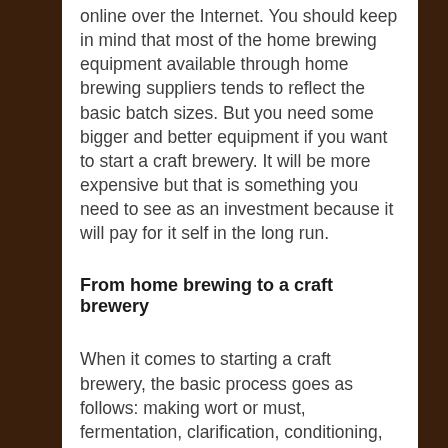online over the Internet. You should keep in mind that most of the home brewing equipment available through home brewing suppliers tends to reflect the basic batch sizes. But you need some bigger and better equipment if you want to start a craft brewery. It will be more expensive but that is something you need to see as an investment because it will pay for it self in the long run.
From home brewing to a craft brewery
When it comes to starting a craft brewery, the basic process goes as follows: making wort or must, fermentation, clarification, conditioning, and finally packaging. Wort is really the beer prior to the fermentation process, which is made from hops and liquor extracted from crushed grains. Wort may also be made by a commercially processed extract and may be available in either dry or liquid form.
For people who are interested in starting a craft brewery, there is equipment like a three tier brewing system as mentioned in this other article on our site, that is the next